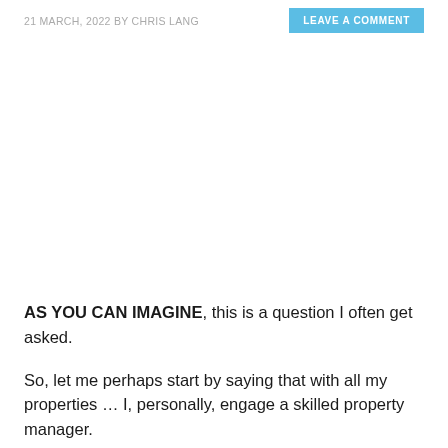21 MARCH, 2022 BY CHRIS LANG
AS YOU CAN IMAGINE, this is a question I often get asked.
So, let me perhaps start by saying that with all my properties … I, personally, engage a skilled property manager.
And people then ask … If you know so much about commercial property, why don't you manage the properties